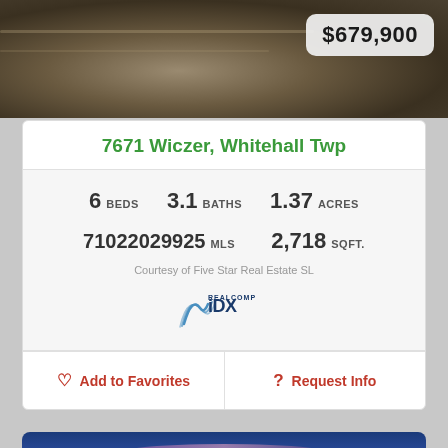[Figure (photo): Top portion of a real estate listing photo showing a driveway/road surface in dark tones with a price badge overlay]
$679,900
7671 Wiczer, Whitehall Twp
6 BEDS   3.1 BATHS   1.37 ACRES
71022029925 MLS   2,718 SQFT.
Courtesy of Five Star Real Estate SL
[Figure (logo): Realcomp IDX logo]
Add to Favorites
Request Info
[Figure (photo): Exterior photo of property at dusk with colorful sky showing pink and purple clouds, trees silhouetted in foreground]